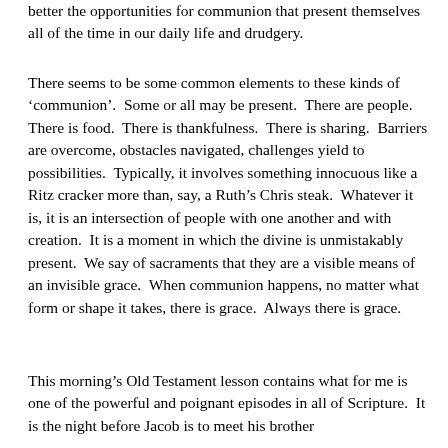better the opportunities for communion that present themselves all of the time in our daily life and drudgery.
There seems to be some common elements to these kinds of ‘communion’.  Some or all may be present.  There are people.  There is food.  There is thankfulness.  There is sharing.  Barriers are overcome, obstacles navigated, challenges yield to possibilities.  Typically, it involves something innocuous like a Ritz cracker more than, say, a Ruth’s Chris steak.  Whatever it is, it is an intersection of people with one another and with creation.  It is a moment in which the divine is unmistakably present.  We say of sacraments that they are a visible means of an invisible grace.  When communion happens, no matter what form or shape it takes, there is grace.  Always there is grace.
This morning’s Old Testament lesson contains what for me is one of the powerful and poignant episodes in all of Scripture.  It is the night before Jacob is to meet his brother